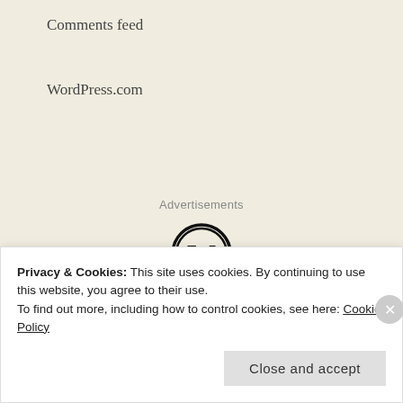Comments feed
WordPress.com
Advertisements
[Figure (logo): WordPress circular logo with W letter mark in black and white]
Professionally designed sites
Privacy & Cookies: This site uses cookies. By continuing to use this website, you agree to their use.
To find out more, including how to control cookies, see here: Cookie Policy
Close and accept